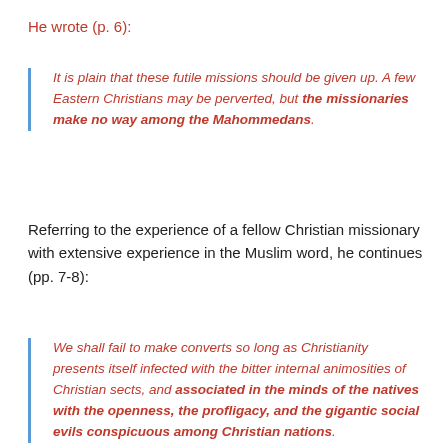He wrote (p. 6):
It is plain that these futile missions should be given up. A few Eastern Christians may be perverted, but the missionaries make no way among the Mahommedans.
Referring to the experience of a fellow Christian missionary with extensive experience in the Muslim word, he continues (pp. 7-8):
We shall fail to make converts so long as Christianity presents itself infected with the bitter internal animosities of Christian sects, and associated in the minds of the natives with the openness, the profligacy, and the gigantic social evils conspicuous among Christian nations.